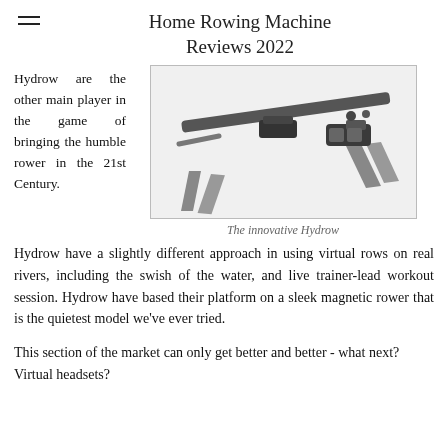Home Rowing Machine Reviews 2022
Hydrow are the other main player in the game of bringing the humble rower in the 21st Century.
[Figure (photo): Photo of a Hydrow rowing machine showing its sleek design with magnetic resistance mechanism, seat rail, and frame legs.]
The innovative Hydrow
Hydrow have a slightly different approach in using virtual rows on real rivers, including the swish of the water, and live trainer-lead workout session. Hydrow have based their platform on a sleek magnetic rower that is the quietest model we've ever tried.
This section of the market can only get better and better - what next? Virtual headsets?